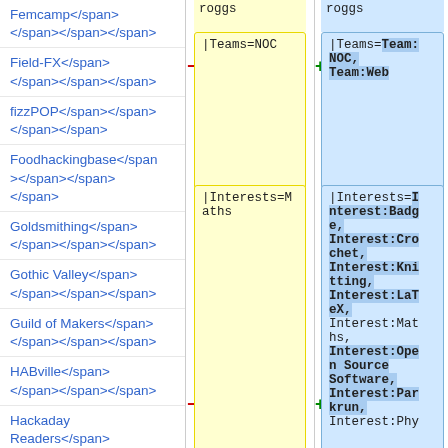Femcamp</span></span></span></span>
Field-FX</span></span></span></span>
fizzPOP</span></span></span></span>
Foodhackingbase</span></span></span></span>
Goldsmithing</span></span></span></span>
Gothic Valley</span></span></span></span>
Guild of Makers</span></span></span></span>
HABville</span></span></span></span>
Hackaday Readers</span></span></span></span>
Hacks 'R' Us</span></span></span></span>
Hacky Racers</span></span></span></span>
Hamfurs</span></span></span></span>
Hardware Hacking Area</span>...
roggs (top, removed)
|Teams=NOC (removed)
|Interests=Maths (removed)
roggs (top, added)
|Teams=Team:NOC, Team:Web (added)
|Interests=Interest:Badge, Interest:Crochet, Interest:Knitting, Interest:LaTeX, Interest:Maths, Interest:Open Source Software, Interest:Parkrun, Interest:Phy... (added)